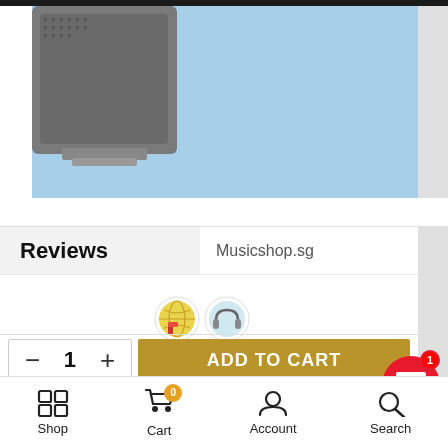[Figure (photo): Product image of a speaker/audio device against light blue background, cropped view showing top portion]
Reviews
Musicshop.sg
[Figure (illustration): Two circular avatar/profile icons side by side]
- 1 +
ADD TO CART
Shop | Cart 0 | Account | Search